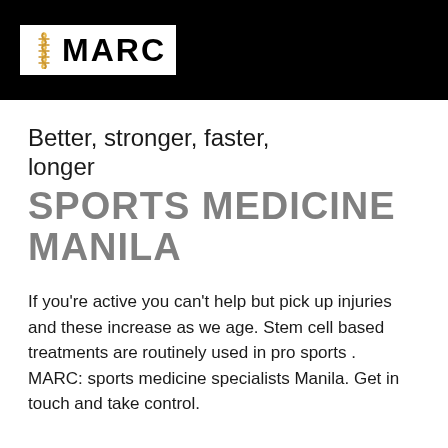[Figure (logo): MARC logo with DNA double helix icon on white background inside black header bar]
Better, stronger, faster, longer
SPORTS MEDICINE MANILA
If you're active you can't help but pick up injuries and these increase as we age. Stem cell based treatments are routinely used in pro sports . MARC: sports medicine specialists Manila. Get in touch and take control.